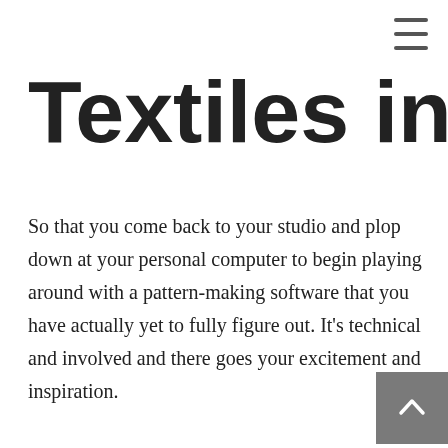≡
Textiles in inte
So that you come back to your studio and plop down at your personal computer to begin playing around with a pattern-making software that you have actually yet to fully figure out. It's technical and involved and there goes your excitement and inspiration.
Not too long ago, we came across the president of business labeled as It's a iPad software that means it is easy for independent manufacturers to {incredibly easily} develop custom prints and pattern design for the choices from definitely something. As soon as we heard this, we had been